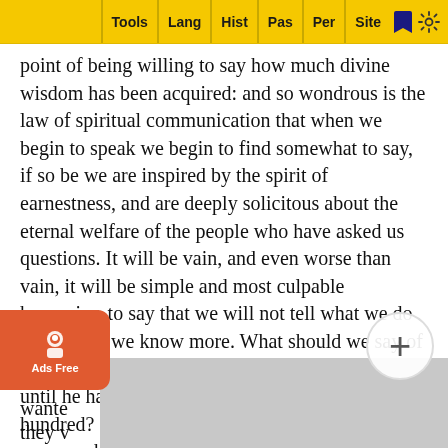Tools | Lang | Hist | Pas | Per | Site
point of being willing to say how much divine wisdom has been acquired: and so wondrous is the law of spiritual communication that when we begin to speak we begin to find somewhat to say, if so be we are inspired by the spirit of earnestness, and are deeply solicitous about the eternal welfare of the people who have asked us questions. It will be vain, and even worse than vain, it will be simple and most culpable hypocrisy, to say that we will not tell what we do know until we know more. What should we say of a man who refused to give bread to the hungry until he has multiplied his own loaves by a hundred? Give what you have; start where you can; speak the one little sentence that is addressed to you in all your presently-acquired treasures of the kingdom of heaven. We want a communicative Church as a communicative ministry. Inquiries are handed to the minister. That might be right if the inquirers wanted to know something that the minister could teach; but if they wanted to know something that the minister